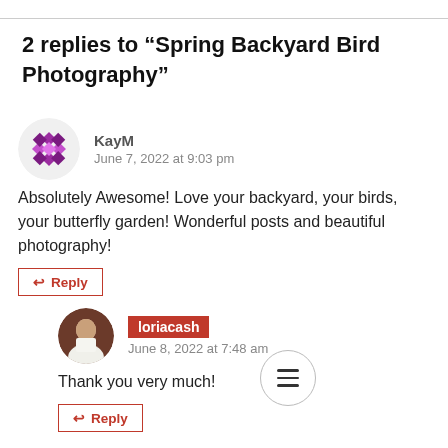2 replies to “Spring Backyard Bird Photography”
KayM
June 7, 2022 at 9:03 pm
Absolutely Awesome! Love your backyard, your birds, your butterfly garden! Wonderful posts and beautiful photography!
loriacash
June 8, 2022 at 7:48 am
Thank you very much!